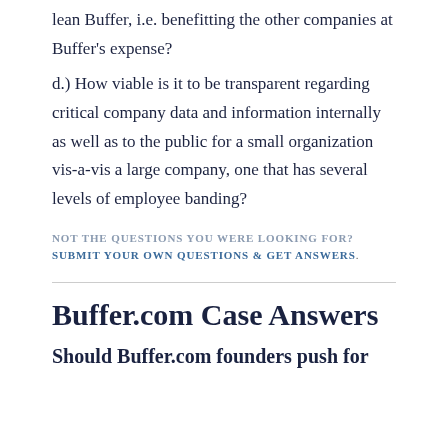lean Buffer, i.e. benefitting the other companies at Buffer's expense?
d.) How viable is it to be transparent regarding critical company data and information internally as well as to the public for a small organization vis-a-vis a large company, one that has several levels of employee banding?
NOT THE QUESTIONS YOU WERE LOOKING FOR? SUBMIT YOUR OWN QUESTIONS & GET ANSWERS.
Buffer.com Case Answers
Should Buffer.com founders push for